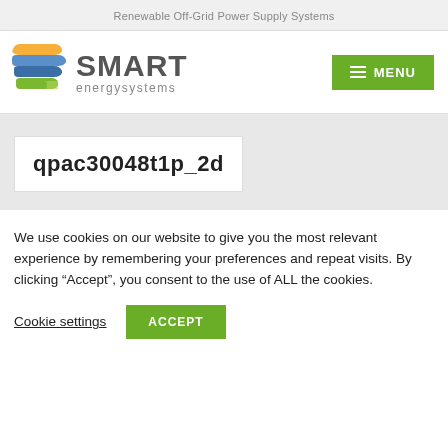Renewable Off-Grid Power Supply Systems
[Figure (logo): Smart Energy Systems logo with colorful stacked shapes and SMART energysystems text, with a green MENU button]
qpac30048t1p_2d
We use cookies on our website to give you the most relevant experience by remembering your preferences and repeat visits. By clicking “Accept”, you consent to the use of ALL the cookies.
Cookie settings  ACCEPT